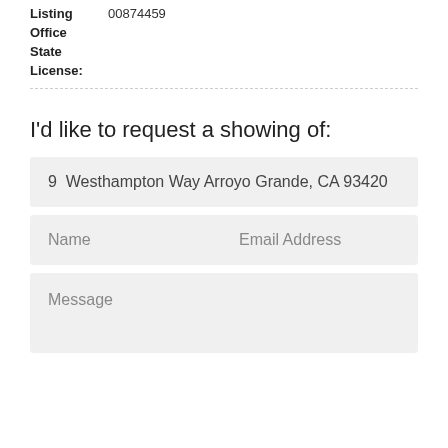Listing  00874459
Office
State
License:
I'd like to request a showing of:
9  Westhampton Way Arroyo Grande, CA 93420
Name    Email Address
Message